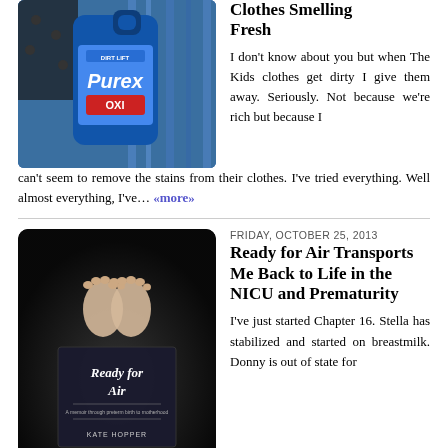[Figure (photo): Photo of a blue Purex with OXI laundry detergent bottle next to colorful clothing]
Clothes Smelling Fresh
I don't know about you but when The Kids clothes get dirty I give them away. Seriously. Not because we're rich but because I can't seem to remove the stains from their clothes. I've tried everything. Well almost everything, I've… «more»
[Figure (photo): Book cover for 'Ready for Air' by Kate Hopper, showing baby feet on a dark background]
FRIDAY, OCTOBER 25, 2013
Ready for Air Transports Me Back to Life in the NICU and Prematurity
I've just started Chapter 16. Stella has stabilized and started on breastmilk. Donny is out of state for business. Kate is taking life one minute at a time. Things are progressing along as they should. But life can change with